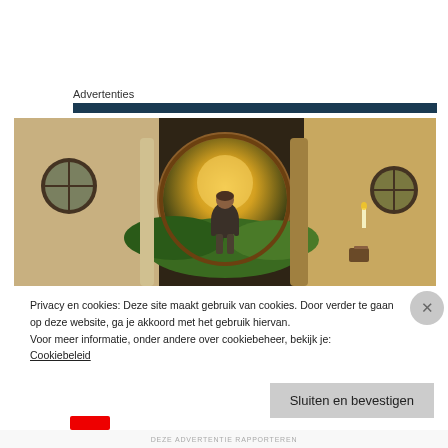Advertenties
[Figure (photo): Movie still: a man standing in a large circular hobbit door opening, with green hills and golden sunset light behind him. Interior hobbit-hole room visible on both sides.]
Privacy en cookies: Deze site maakt gebruik van cookies. Door verder te gaan op deze website, ga je akkoord met het gebruik hiervan.
Voor meer informatie, onder andere over cookiebeheer, bekijk je:
Cookiebeleid
Sluiten en bevestigen